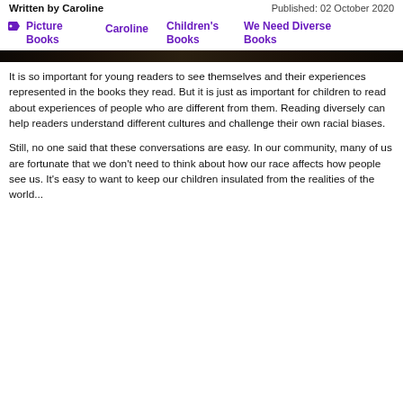Written by Caroline    Published: 02 October 2020
Picture Books   Caroline   Children's Books   We Need Diverse Books
[Figure (photo): Dark image bar, appears to be a partial photo of a dark background with slight texture, cropped to a narrow horizontal strip.]
It is so important for young readers to see themselves and their experiences represented in the books they read. But it is just as important for children to read about experiences of people who are different from them. Reading diversely can help readers understand different cultures and challenge their own racial biases.
Still, no one said that these conversations are easy. In our community, many of us are fortunate that we don't need to think about how our race affects how people see us. It's easy to want to keep our children insulated from the realities of the world...